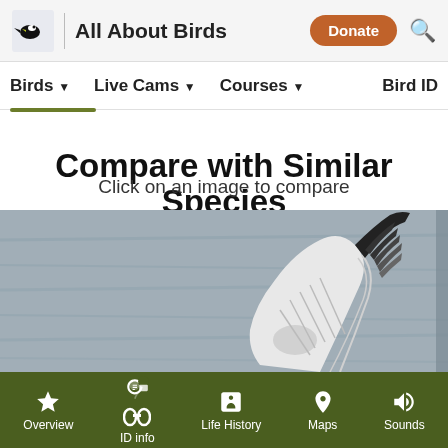All About Birds | Birds ▾  Live Cams ▾  Courses ▾  Bird ID
Compare with Similar Species
Click on an image to compare
[Figure (photo): Close-up photo of a bird wing tip with spread feathers, black tips, against a grey water background]
Need Bird ID Help?  Try Merlin
Overview  ID info  Life History  Maps  Sounds